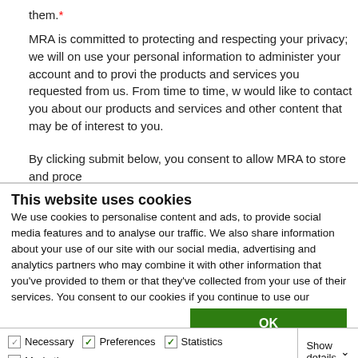them.*
MRA is committed to protecting and respecting your privacy; we will only use your personal information to administer your account and to provide the products and services you requested from us. From time to time, we would like to contact you about our products and services and other content that may be of interest to you.
By clicking submit below, you consent to allow MRA to store and process the personal information submitted above to provide you the content
This website uses cookies
We use cookies to personalise content and ads, to provide social media features and to analyse our traffic. We also share information about your use of our site with our social media, advertising and analytics partners who may combine it with other information that you've provided to them or that they've collected from your use of their services. You consent to our cookies if you continue to use our website.
OK
Necessary  Preferences  Statistics  Marketing  Show details